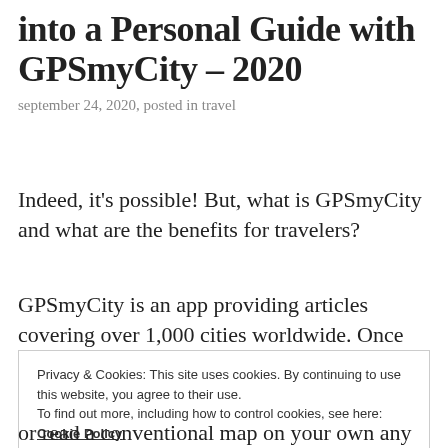into a Personal Guide with GPSmyCity – 2020
september 24, 2020, posted in travel
Indeed, it's possible! But, what is GPSmyCity and what are the benefits for travelers?
GPSmyCity is an app providing articles covering over 1,000 cities worldwide. Once you install the app either on iOS or Android through www.gpsmycity.com , you can download each
Privacy & Cookies: This site uses cookies. By continuing to use this website, you agree to their use.
To find out more, including how to control cookies, see here: Cookie Policy
Close and accept
or read a conventional map on your own any